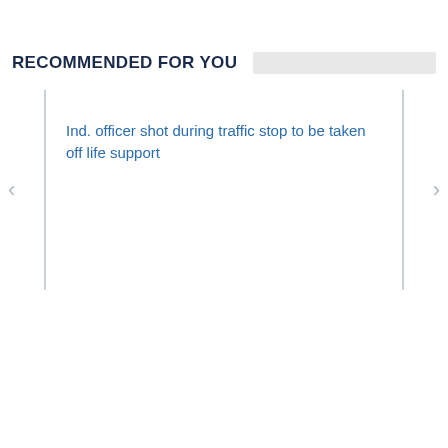RECOMMENDED FOR YOU
Ind. officer shot during traffic stop to be taken off life support